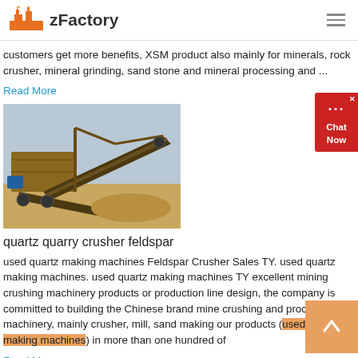zFactory
customers get more benefits, XSM product also mainly for minerals, rock crusher, mineral grinding, sand stone and mineral processing and ...
Read More
[Figure (photo): Industrial mining/quarry crusher machine with conveyor belt on sandy terrain]
quartz quarry crusher feldspar
used quartz making machines Feldspar Crusher Sales TY. used quartz making machines. used quartz making machines TY excellent mining crushing machinery products or production line design, the company is committed to building the Chinese brand mine crushing and processing machinery, mainly crusher, mill, sand making our products (used quartz making machines) in more than one hundred of
Read More